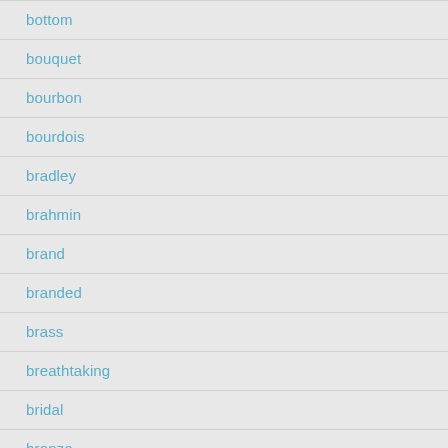bottom
bouquet
bourbon
bourdois
bradley
brahmin
brand
branded
brass
breathtaking
bridal
bronze
brooks